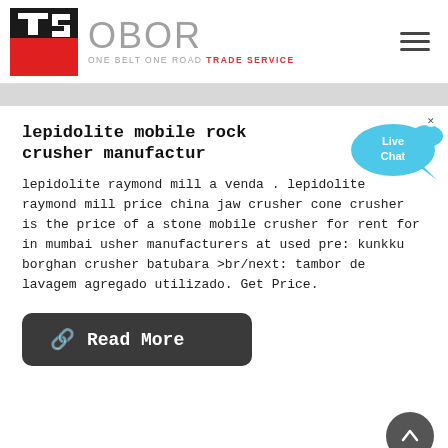[Figure (logo): TS OBOR One Belt One Road Trade Service logo — black and red TS monogram mark on left, grey OBOR text with tagline on right]
lepidolite mobile rock crusher manufactur
lepidolite raymond mill a venda . lepidolite raymond mill price china jaw crusher cone crusher is the price of a stone mobile crusher for rent for in mumbai usher manufacturers at used pre: kunkku borghan crusher batubara >br/next: tambor de lavagem agregado utilizado. Get Price.
Read More